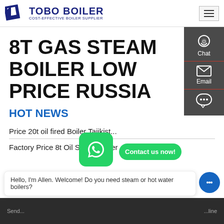TOBO BOILER COST-EFFECTIVE BOILER SUPPLIER
8T GAS STEAM BOILER LOW PRICE RUSSIA
HOT NEWS
Price 20t oil fired Boiler Tajikist...
Factory Price 8t Oil Steam Boiler
Hello, I'm Allen. Welcome! Do you need steam or hot water boilers?